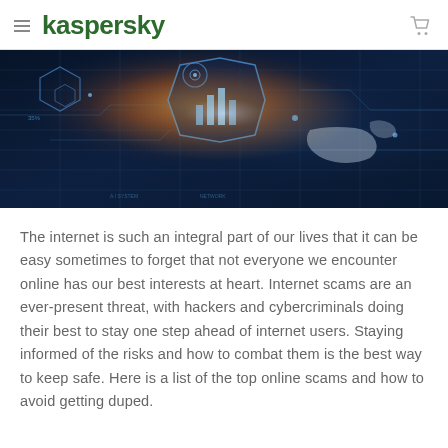kaspersky
[Figure (photo): Futuristic digital data visualization with glowing circuit patterns, hexagons, world map overlays, bar chart icons, and blue/orange light effects representing cybersecurity and internet technology.]
The internet is such an integral part of our lives that it can be easy sometimes to forget that not everyone we encounter online has our best interests at heart. Internet scams are an ever-present threat, with hackers and cybercriminals doing their best to stay one step ahead of internet users. Staying informed of the risks and how to combat them is the best way to keep safe. Here is a list of the top online scams and how to avoid getting duped.